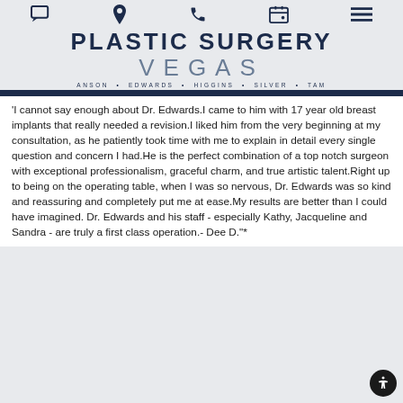Plastic Surgery Vegas — ANSON • EDWARDS • HIGGINS • SILVER • TAM
'I cannot say enough about Dr. Edwards.I came to him with 17 year old breast implants that really needed a revision.I liked him from the very beginning at my consultation, as he patiently took time with me to explain in detail every single question and concern I had.He is the perfect combination of a top notch surgeon with exceptional professionalism, graceful charm, and true artistic talent.Right up to being on the operating table, when I was so nervous, Dr. Edwards was so kind and reassuring and completely put me at ease.My results are better than I could have imagined. Dr. Edwards and his staff - especially Kathy, Jacqueline and Sandra - are truly a first class operation.- Dee D."*